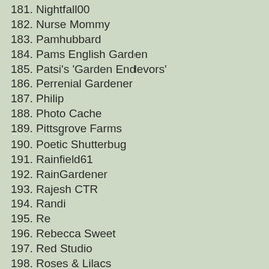181. Nightfall00
182. Nurse Mommy
183. Pamhubbard
184. Pams English Garden
185. Patsi's 'Garden Endevors'
186. Perrenial Gardener
187. Philip
188. Photo Cache
189. Pittsgrove Farms
190. Poetic Shutterbug
191. Rainfield61
192. RainGardener
193. Rajesh CTR
194. Randi
195. Re
196. Rebecca Sweet
197. Red Studio
198. Roses & Lilacs
199. Rosey Pollen
200. Sandee
201. Sandy Carlson
202. Sandy W